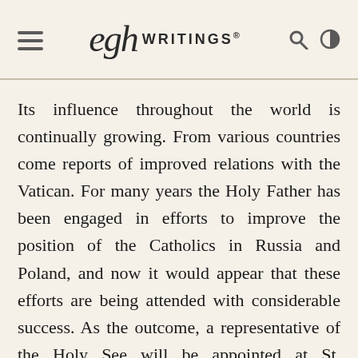EGW WRITINGS®
Its influence throughout the world is continually growing. From various countries come reports of improved relations with the Vatican. For many years the Holy Father has been engaged in efforts to improve the position of the Catholics in Russia and Poland, and now it would appear that these efforts are being attended with considerable success. As the outcome, a representative of the Holy See will be appointed at St. Petersburg. Of course the Czar will endeavour to get something in return for this concession, and it is said that he has made a strong appeal to the Holy Father to support his peace crusade. News has been received here by telegraph that President McKinley proposes to despatch Archbishop Ireland to represent the United States at